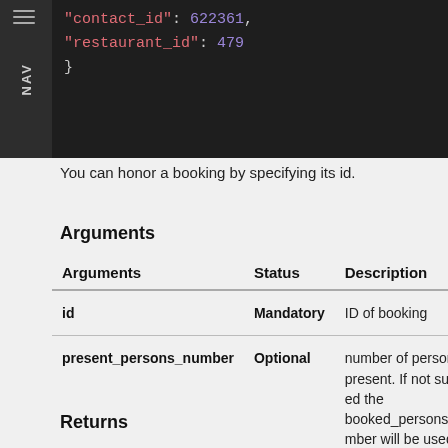[Figure (screenshot): Dark-themed code block showing JSON with keys 'contact_id': 622361, 'restaurant_id': 479, and a closing brace. NAV sidebar on left.]
You can honor a booking by specifying its id.
Arguments
| Arguments | Status | Description |
| --- | --- | --- |
| id | Mandatory | ID of booking |
| present_persons_number | Optional | number of persons present. If not supplied the booked_persons_number will be used |
Returns